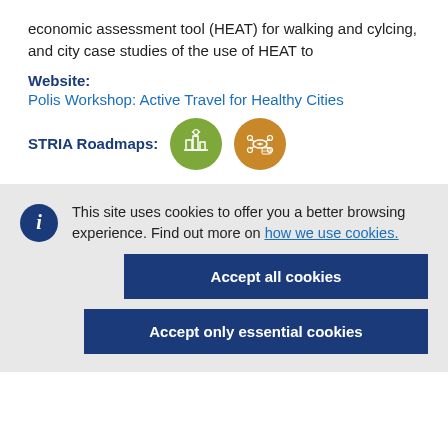economic assessment tool (HEAT) for walking and cylcing, and city case studies of the use of HEAT to
Website:
Polis Workshop: Active Travel for Healthy Cities
[Figure (infographic): STRIA Roadmaps label with two circular icons: green icon with city/transport symbols and orange icon with vehicle/technology symbols]
This site uses cookies to offer you a better browsing experience. Find out more on how we use cookies.
Accept all cookies
Accept only essential cookies